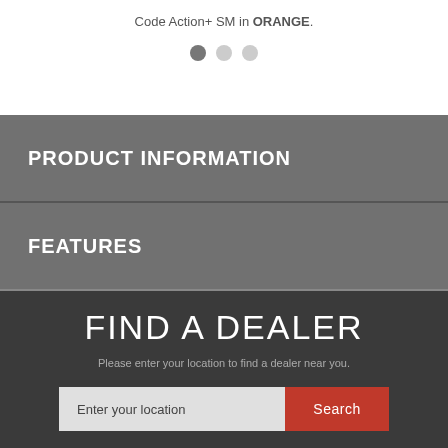Code Action+ SM in ORANGE.
[Figure (other): Three pagination dots, first filled dark, second and third light gray]
PRODUCT INFORMATION
FEATURES
FIND A DEALER
Please enter your location to find a dealer near you.
[Figure (other): Search bar with 'Enter your location' input field and red 'Search' button]